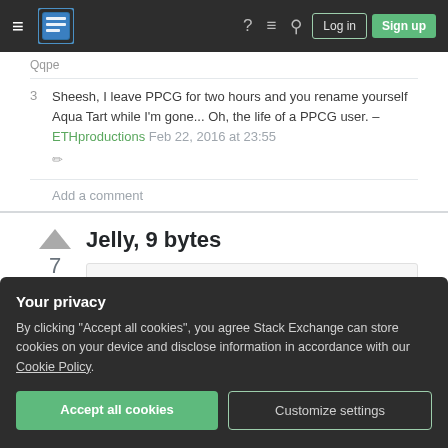Stack Exchange navigation bar with Log in and Sign up buttons
Sheesh, I leave PPCG for two hours and you rename yourself Aqua Tart while I'm gone... Oh, the life of a PPCG user. – ETHproductions Feb 22, 2016 at 23:55
Add a comment
Jelly, 9 bytes
R,U$DF€ĐS
Your privacy
By clicking "Accept all cookies", you agree Stack Exchange can store cookies on your device and disclose information in accordance with our Cookie Policy.
Accept all cookies
Customize settings